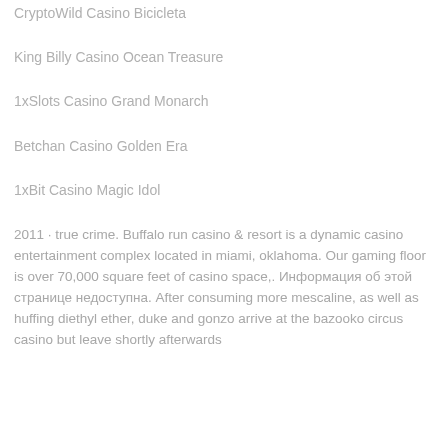CryptoWild Casino Bicicleta
King Billy Casino Ocean Treasure
1xSlots Casino Grand Monarch
Betchan Casino Golden Era
1xBit Casino Magic Idol
2011 · true crime. Buffalo run casino & resort is a dynamic casino entertainment complex located in miami, oklahoma. Our gaming floor is over 70,000 square feet of casino space,. Информация об этой странице недоступна. After consuming more mescaline, as well as huffing diethyl ether, duke and gonzo arrive at the bazooko circus casino but leave shortly afterwards